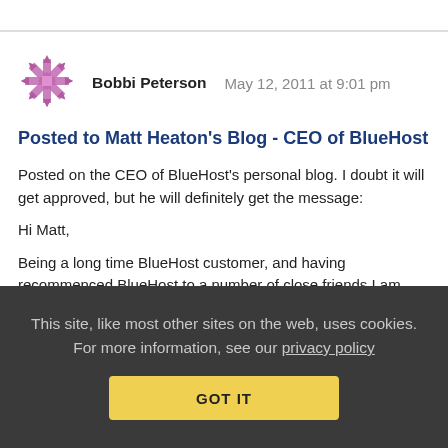[Figure (logo): Purple decorative snowflake/star avatar icon for user Bobbi Peterson]
Bobbi Peterson   May 12, 2011 at 9:01 pm
Posted to Matt Heaton's Blog - CEO of BlueHost
Posted on the CEO of BlueHost's personal blog. I doubt it will get approved, but he will definitely get the message:
Hi Matt,
Being a long time BlueHost customer, and having recommenced BlueHost to a number of close friends I am truly dismayed by recent events regarding customer protection by BlueHost regarding client privacy.
This site, like most other sites on the web, uses cookies. For more information, see our privacy policy
GOT IT